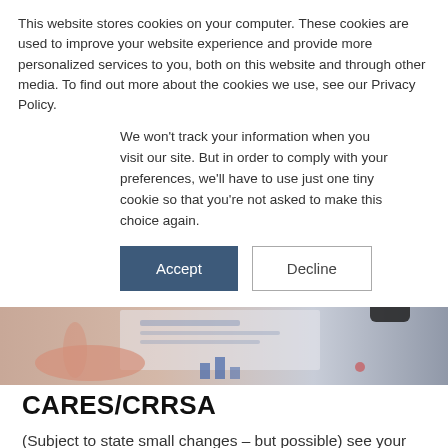This website stores cookies on your computer. These cookies are used to improve your website experience and provide more personalized services to you, both on this website and through other media. To find out more about the cookies we use, see our Privacy Policy.
We won't track your information when you visit our site. But in order to comply with your preferences, we'll have to use just one tiny cookie so that you're not asked to make this choice again.
Accept
Decline
[Figure (photo): Blurred photo of a person's hand pointing at a tablet/document on a desk, with warm tones]
CARES/CRRSA
(Subject to state small changes – but possible) see your state's use of these Federal Objectives, which are guidelines.